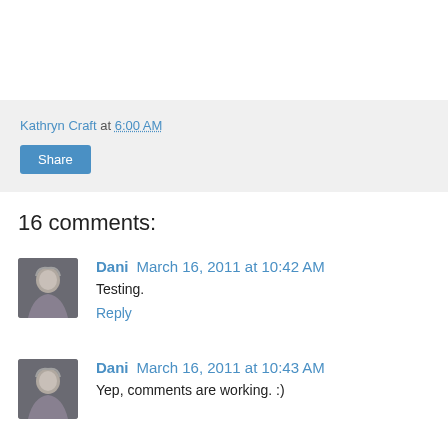Kathryn Craft at 6:00 AM
Share
16 comments:
[Figure (photo): Avatar photo of Dani – person with gray hair]
Dani March 16, 2011 at 10:42 AM
Testing.
Reply
[Figure (photo): Avatar photo of Dani – person with gray hair]
Dani March 16, 2011 at 10:43 AM
Yep, comments are working. :)